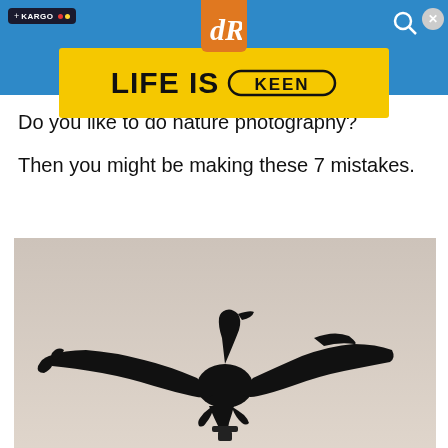[Figure (screenshot): Website header with blue background, Kargo badge top-left, digital photography review logo (dR) center top on orange background, search icon top-right, close button top-right corner, and a yellow KEEN brand advertisement banner (LIFE IS KEEN)]
Do you like to do nature photography?
Then you might be making these 7 mistakes.
[Figure (photo): Silhouette of a cormorant bird with wings spread wide, photographed against a light gray/beige sky background]